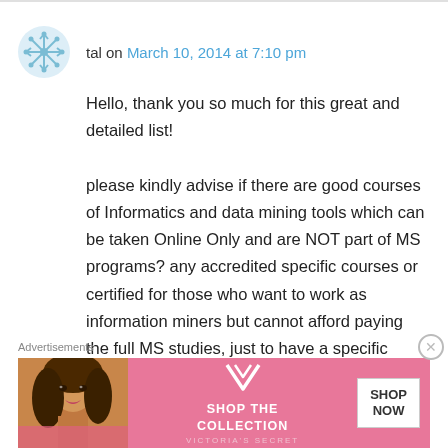tal on March 10, 2014 at 7:10 pm
Hello, thank you so much for this great and detailed list!
please kindly advise if there are good courses of Informatics and data mining tools which can be taken Online Only and are NOT part of MS programs? any accredited specific courses or certified for those who want to work as information miners but cannot afford paying the full MS studies, just to have a specific course diploma??
many thanks – Tal
Advertisements
[Figure (other): Victoria's Secret advertisement banner with model, VS logo, 'SHOP THE COLLECTION' text, and 'SHOP NOW' button]